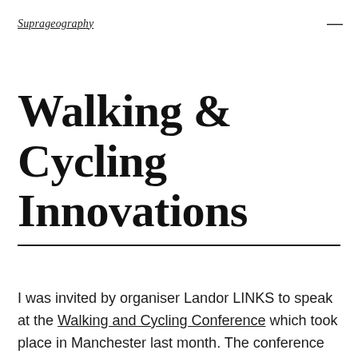Suprageography
Walking & Cycling Innovations
I was invited by organiser Landor LINKS to speak at the Walking and Cycling Conference which took place in Manchester last month. The conference